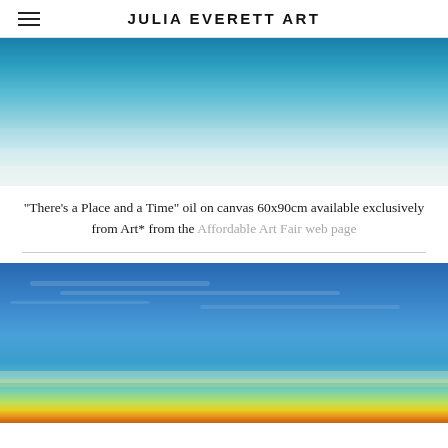JULIA EVERETT ART
[Figure (illustration): Painting titled 'There's a Place and a Time' — an abstract landscape showing gradient sky from deep teal/blue at the top fading to pale cream/white at the bottom, oil on canvas 60x90cm]
"There's a Place and a Time" oil on canvas 60x90cm available exclusively from Art* from the Affordable Art Fair web page
[Figure (illustration): Second abstract landscape painting showing a vibrant blue sky with horizontal cloud streaks, and a glowing horizon with warm yellow, orange and green bands at the bottom]